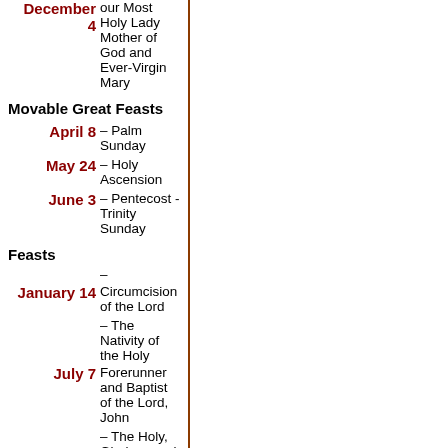December 4 – our Most Holy Lady Mother of God and Ever-Virgin Mary
Movable Great Feasts
April 8 – Palm Sunday
May 24 – Holy Ascension
June 3 – Pentecost - Trinity Sunday
Feasts
January 14 – Circumcision of the Lord
July 7 – The Nativity of the Holy Forerunner and Baptist of the Lord, John
– The Holy, Glorious and All-Praised Leaders of